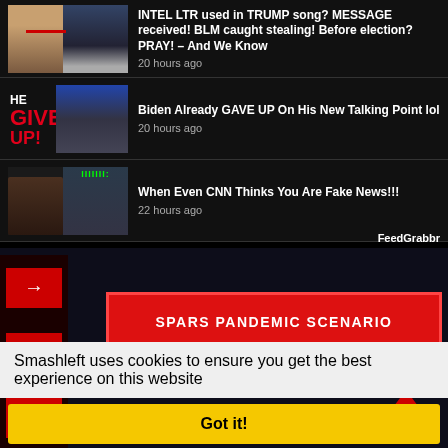INTEL LTR used in TRUMP song? MESSAGE received! BLM caught stealing! Before election? PRAY! – And We Know
20 hours ago
Biden Already GAVE UP On His New Talking Point lol
20 hours ago
When Even CNN Thinks You Are Fake News!!!
22 hours ago
FeedGrabbr
[Figure (screenshot): Red button labeled SPARS PANDEMIC SCENARIO]
LL DOCUMENTATION "SPARS Pandemic, 2025-2028: A uristic Scenario for Public Health Risk Communicators"
2017
Smashleft uses cookies to ensure you get the best experience on this website
Got it!